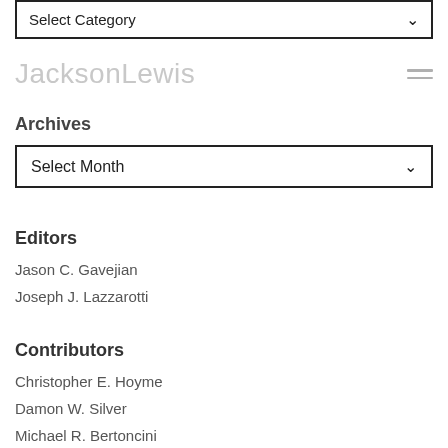[Figure (screenshot): Select Category dropdown box]
JacksonLewis
Archives
[Figure (screenshot): Select Month dropdown box]
Editors
Jason C. Gavejian
Joseph J. Lazzarotti
Contributors
Christopher E. Hoyme
Damon W. Silver
Michael R. Bertoncini